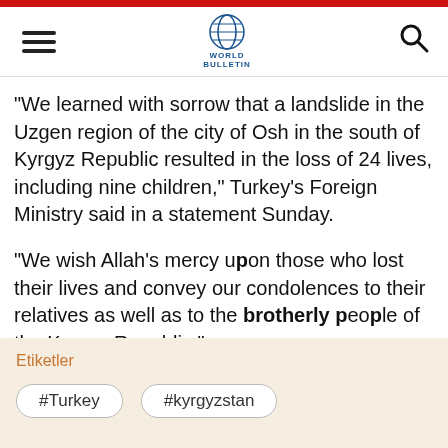World Bulletin
"We learned with sorrow that a landslide in the Uzgen region of the city of Osh in the south of Kyrgyz Republic resulted in the loss of 24 lives, including nine children," Turkey's Foreign Ministry said in a statement Sunday.
"We wish Allah's mercy upon those who lost their lives and convey our condolences to their relatives as well as to the brotherly people of the Kyrgyz Republic."
Heavy rain was behind the deadly landslide.
Etiketler
#Turkey
#kyrgyzstan